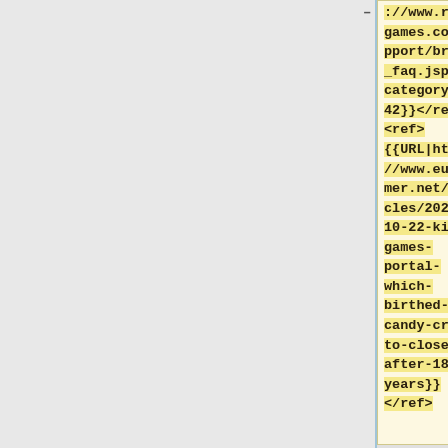– ://www.royalgames.com/support/browse_faq.jsp?categoryId=142}}</ref>
<ref>
{{URL|https://www.eurogamer.net/articles/2021-10-22-king-games-portal-which-birthed-candy-crush-to-close-after-18-years}}
</ref>